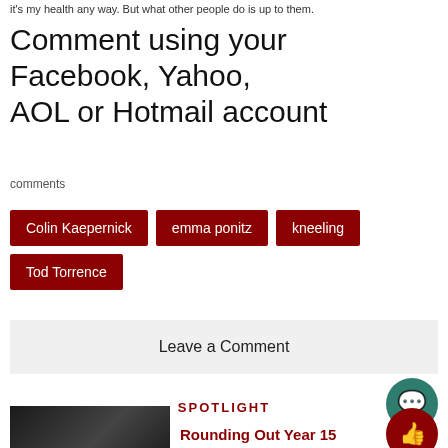it's my health any way. But what other people do is up to them.
Comment using your Facebook, Yahoo, AOL or Hotmail account
comments
Colin Kaepernick
emma ponitz
kneeling
Tod Torrence
Leave a Comment
SPOTLIGHT
Rounding Out Year 15